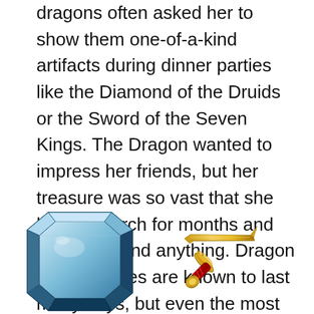dragons often asked her to show them one-of-a-kind artifacts during dinner parties like the Diamond of the Druids or the Sword of the Seven Kings. The Dragon wanted to impress her friends, but her treasure was so vast that she had to search for months and months to find anything. Dragon dinner parties are known to last many days, but even the most patient dragon guests could not wait for a month.
[Figure (illustration): A blue gemstone (diamond/emerald cut) on the left and a golden sword on the right, partially visible at the bottom of the page.]